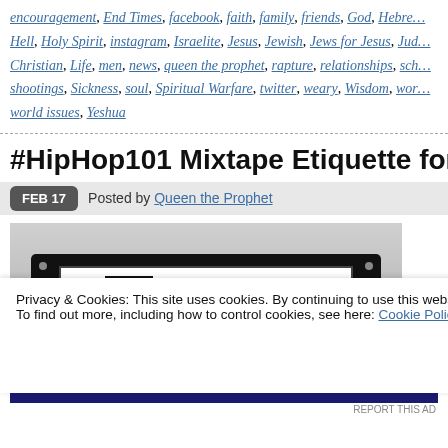encouragement, End Times, facebook, faith, family, friends, God, Hebre… Hell, Holy Spirit, instagram, Israelite, Jesus, Jewish, Jews for Jesus, Jud… Christian, Life, men, news, queen the prophet, rapture, relationships, sch… shootings, Sickness, soul, Spiritual Warfare, twitter, weary, Wisdom, wor… world issues, Yeshua
#HipHop101 Mixtape Etiquette for the ne…
FEB 17   Posted by Queen the Prophet
[Figure (photo): Black and white photo of a cassette tape with label reading MIXTAPE]
Privacy & Cookies: This site uses cookies. By continuing to use this website, you agree to their use.
To find out more, including how to control cookies, see here: Cookie Policy
Close and accept